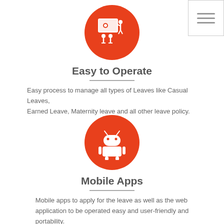Menu
[Figure (illustration): Orange circle with white icon of a person presenting at a board with a gear symbol and two audience members]
Easy to Operate
Easy process to manage all types of Leaves like Casual Leaves, Earned Leave, Maternity leave and all other leave policy.
[Figure (illustration): Orange circle with white Android robot icon]
Mobile Apps
Mobile apps to apply for the leave as well as the web application to be operated easy and user-friendly and portability.